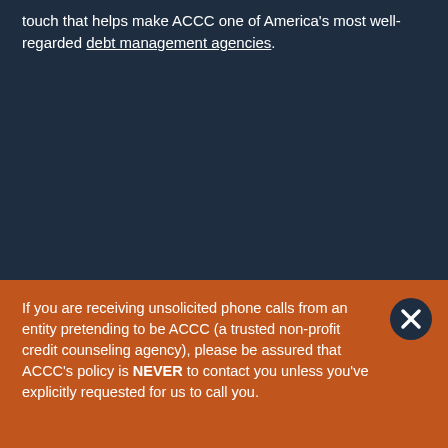touch that helps make ACCC one of America's most well-regarded debt management agencies.
If you are receiving unsolicited phone calls from an entity pretending to be ACCC (a trusted non-profit credit counseling agency), please be assured that ACCC's policy is NEVER to contact you unless you've explicitly requested for us to call you.